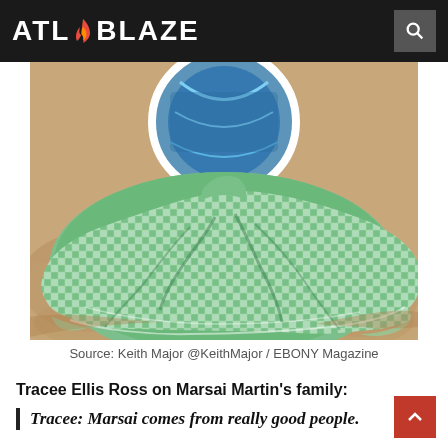ATL BLAZE
[Figure (photo): A spinning green and white gingham/checkered dress photographed outdoors on stone pavement, with a decorative blue and white circular tile or mosaic visible in the background.]
Source: Keith Major @KeithMajor / EBONY Magazine
Tracee Ellis Ross on Marsai Martin’s family:
Tracee: Marsai comes from really good people.